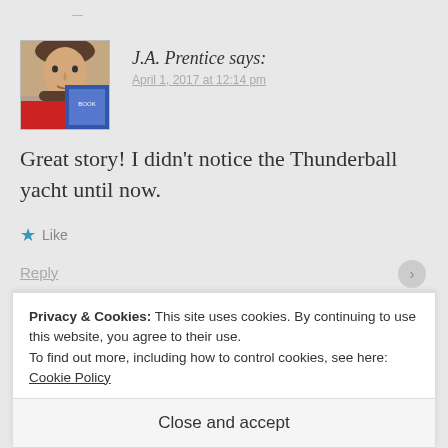[Figure (photo): Avatar photo of J.A. Prentice, showing a person's face partially overlaid with a book cover image]
J.A. Prentice says:
April 1, 2017 at 12:14 pm
Great story! I didn't notice the Thunderball yacht until now.
Like
Reply
Privacy & Cookies: This site uses cookies. By continuing to use this website, you agree to their use.
To find out more, including how to control cookies, see here: Cookie Policy
Close and accept